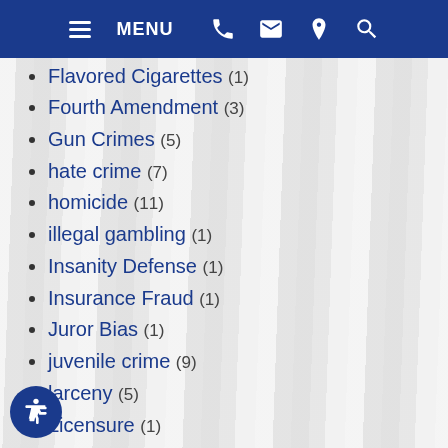MENU [navigation icons]
Flavored Cigarettes (1)
Fourth Amendment (3)
Gun Crimes (5)
hate crime (7)
homicide (11)
illegal gambling (1)
Insanity Defense (1)
Insurance Fraud (1)
Juror Bias (1)
juvenile crime (9)
larceny (5)
Licensure (1)
Liquor Laws (1)
manslaughter (2)
Marijuana (5)
Necessity Defense (1)
New York Criminal Defense Attorney (23)